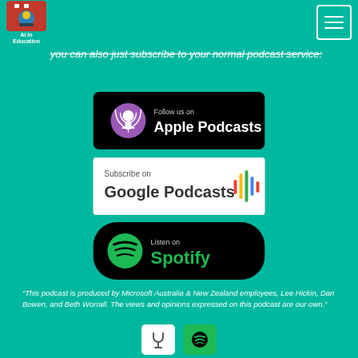AI in Education
you can also just subscribe to your normal podcast service:
[Figure (logo): Apple Podcasts badge: black rounded rectangle with purple podcast icon and text 'Follow us on Apple Podcasts']
[Figure (logo): Google Podcasts badge: white rectangle with Google Podcasts logo and colorful waveform icon, text 'Subscribe on Google Podcasts']
[Figure (logo): Spotify badge: black rounded rectangle with green Spotify swirl logo and text 'Listen on Spotify']
“This podcast is produced by Microsoft Australia & New Zealand employees, Lee Hickin, Dan Bowen, and Beth Worrall. The views and opinions expressed on this podcast are our own.”